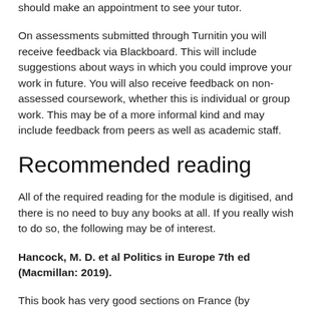should make an appointment to see your tutor.
On assessments submitted through Turnitin you will receive feedback via Blackboard. This will include suggestions about ways in which you could improve your work in future. You will also receive feedback on non-assessed coursework, whether this is individual or group work. This may be of a more informal kind and may include feedback from peers as well as academic staff.
Recommended reading
All of the required reading for the module is digitised, and there is no need to buy any books at all. If you really wish to do so, the following may be of interest.
Hancock, M. D. et al Politics in Europe 7th ed (Macmillan: 2019).
This book has very good sections on France (by